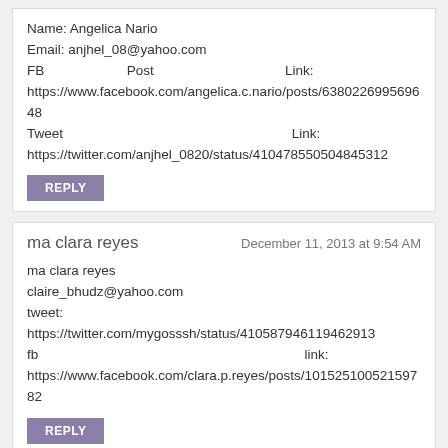Name: Angelica Nario
Email: anjhel_08@yahoo.com
FB Post Link: https://www.facebook.com/angelica.c.nario/posts/638022699569648
Tweet Link: https://twitter.com/anjhel_0820/status/410478550504845312
Reply
ma clara reyes — December 11, 2013 at 9:54 AM
ma clara reyes
claire_bhudz@yahoo.com
tweet: https://twitter.com/mygosssh/status/410587946119462913
fb link: https://www.facebook.com/clara.p.reyes/posts/10152510052159782
Reply
Unknown — December 11, 2013 at 2:48 PM